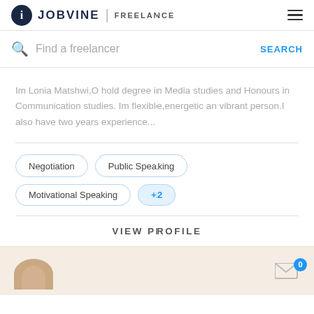JOBVINE | FREELANCE
Find a freelancer
Im Lonia Matshwi,O hold degree in Media studies and Honours in Communication studies. Im flexible,energetic an vibrant person.I also have two years experience...
Negotiation
Public Speaking
Motivational Speaking
+2
VIEW PROFILE